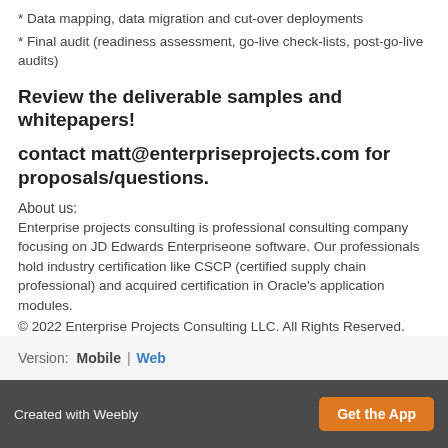* Data mapping, data migration and cut-over deployments
* Final audit (readiness assessment, go-live check-lists, post-go-live audits)
Review the deliverable samples and whitepapers!
contact matt@enterpriseprojects.com for proposals/questions.
About us:
Enterprise projects consulting is professional consulting company focusing on JD Edwards Enterpriseone software. Our professionals hold industry certification like CSCP (certified supply chain professional) and acquired certification in Oracle's application modules.
© 2022 Enterprise Projects Consulting LLC. All Rights Reserved.
Version: Mobile | Web
Created with Weebly  Get the App